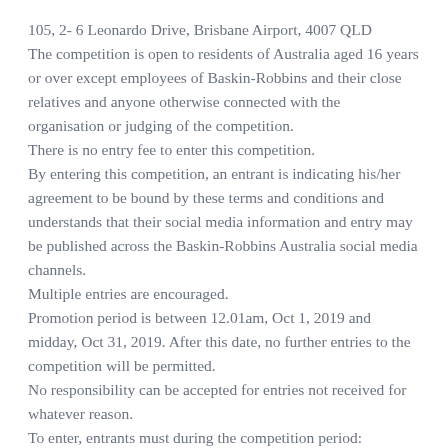105, 2- 6 Leonardo Drive, Brisbane Airport, 4007 QLD
The competition is open to residents of Australia aged 16 years or over except employees of Baskin-Robbins and their close relatives and anyone otherwise connected with the organisation or judging of the competition.
There is no entry fee to enter this competition.
By entering this competition, an entrant is indicating his/her agreement to be bound by these terms and conditions and understands that their social media information and entry may be published across the Baskin-Robbins Australia social media channels.
Multiple entries are encouraged.
Promotion period is between 12.01am, Oct 1, 2019 and midday, Oct 31, 2019. After this date, no further entries to the competition will be permitted.
No responsibility can be accepted for entries not received for whatever reason.
To enter, entrants must during the competition period: